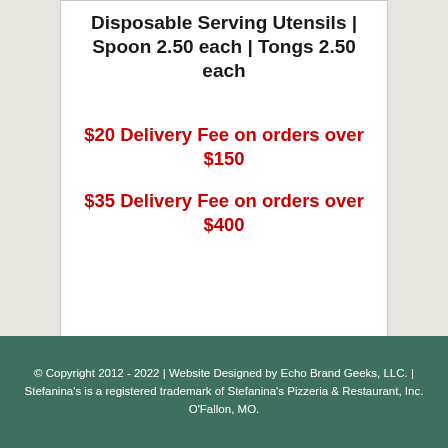Disposable Serving Utensils | Spoon 2.50 each | Tongs 2.50 each
$20 Delivery Fee on orders over $150
$35 Delivery Fee on orders over $400
© Copyright 2012 - 2022 | Website Designed by Echo Brand Geeks, LLC. | Stefanina's is a registered trademark of Stefanina's Pizzeria & Restaurant, Inc. O'Fallon, MO.